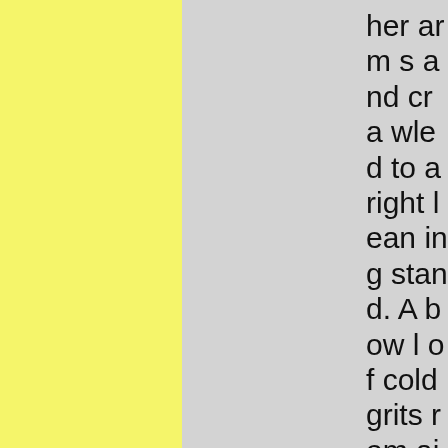her arms and crawled to a right leaning stand. A bowl of cold grits remained in Rudolph